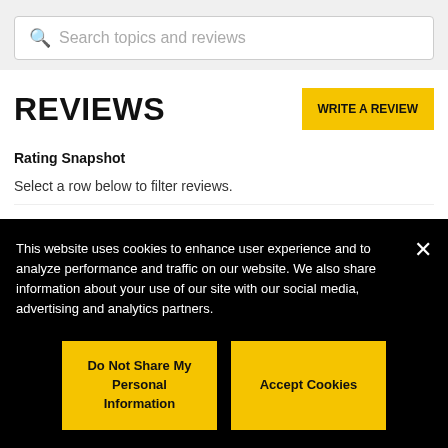[Figure (screenshot): Search bar with magnifying glass icon and placeholder text 'Search topics and reviews']
REVIEWS
[Figure (other): Yellow 'WRITE A REVIEW' button]
Rating Snapshot
Select a row below to filter reviews.
This website uses cookies to enhance user experience and to analyze performance and traffic on our website. We also share information about your use of our site with our social media, advertising and analytics partners.
[Figure (other): Yellow 'Do Not Share My Personal Information' button]
[Figure (other): Yellow 'Accept Cookies' button]